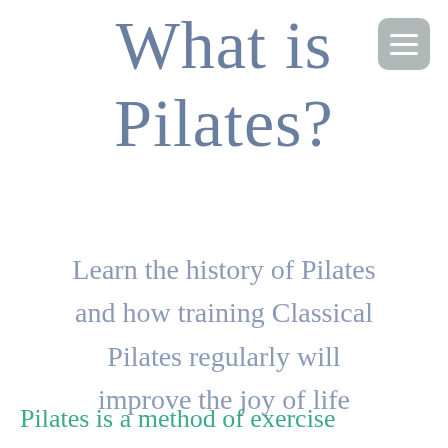What is Pilates?
Learn the history of Pilates and how training Classical Pilates regularly will improve the joy of life
Pilates is a method of exercise